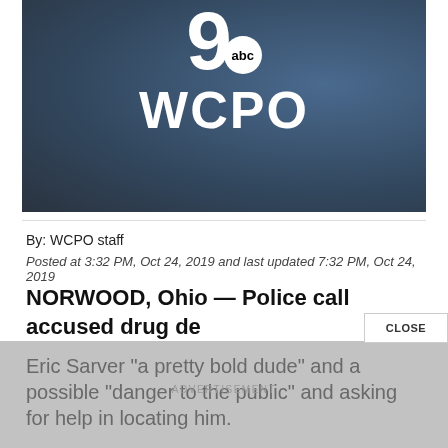[Figure (logo): WCPO 9 abc television station logo on dark blue background]
By: WCPO staff
Posted at 3:32 PM, Oct 24, 2019 and last updated 7:32 PM, Oct 24, 2019
NORWOOD, Ohio — Police call accused drug dealer Eric Sarver "a pretty bold dude" and a possible "danger to the public" and asking for help in locating him.
CLOSE
ADVERTISEMENT